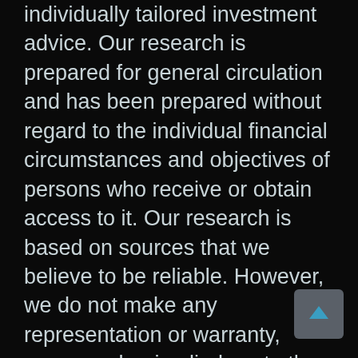individually tailored investment advice. Our research is prepared for general circulation and has been prepared without regard to the individual financial circumstances and objectives of persons who receive or obtain access to it. Our research is based on sources that we believe to be reliable. However, we do not make any representation or warranty, expressed or implied, as to the accuracy of our research, the completeness, or correctness or make any guarantee or other promise as to any results that may be obtained from using our research. To the maximum extent permitted by
[Figure (other): A dark grey rounded square button with an upward-pointing arrow icon in teal/cyan color, used as a scroll-to-top navigation button.]